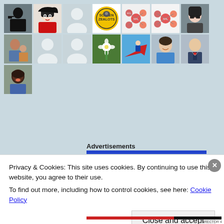[Figure (screenshot): Grid of 15 user avatar/profile pictures arranged in 3 rows of 7 columns. Row 1: military silhouette, anime character, blank user icon, Screen Zealots logo, network diagram x2, woman with glasses. Row 2: man with child, blank user icon x2, flower photo, businessman on red arrow, young man smiling, man in suit. Row 3: woman smiling.]
Advertisements
Privacy & Cookies: This site uses cookies. By continuing to use this website, you agree to their use.
To find out more, including how to control cookies, see here: Cookie Policy